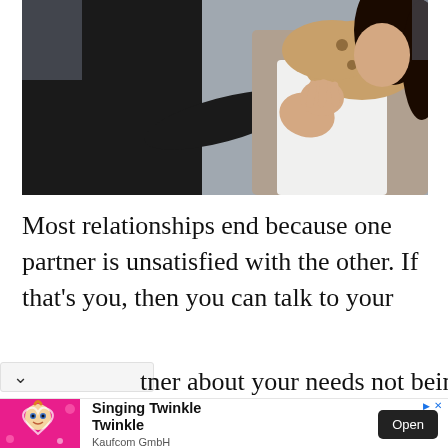[Figure (photo): A woman in a white top and leopard print scarf holds her hand up defensively as a person in a dark jacket reaches toward her shoulder, outdoors on a street.]
Most relationships end because one partner is unsatisfied with the other. If that's you, then you can talk to your
tner about your needs not being
[Figure (infographic): Mobile advertisement banner featuring an animated baby character with a glowing heart on a pink background. Ad for 'Singing Twinkle Twinkle' by Kaufcom GmbH with an Open button.]